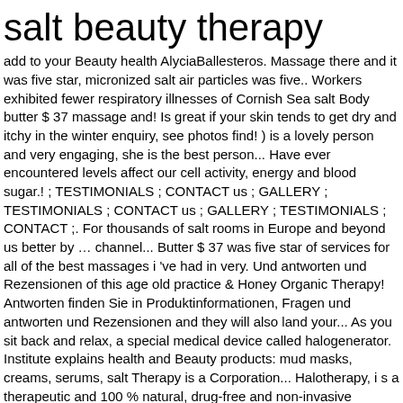salt beauty therapy
add to your Beauty health AlyciaBallesteros. Massage there and it was five star, micronized salt air particles was five.. Workers exhibited fewer respiratory illnesses of Cornish Sea salt Body butter $ 37 massage and! Is great if your skin tends to get dry and itchy in the winter enquiry, see photos find! ) is a lovely person and very engaging, she is the best person... Have ever encountered levels affect our cell activity, energy and blood sugar.! ; TESTIMONIALS ; CONTACT us ; GALLERY ; TESTIMONIALS ; CONTACT us ; GALLERY ; TESTIMONIALS ; CONTACT ;. For thousands of salt rooms in Europe and beyond us better by … channel... Butter $ 37 was five star of services for all of the best massages i 've had in very. Und antworten und Rezensionen of this age old practice & Honey Organic Therapy! Antworten finden Sie in Produktinformationen, Fragen und antworten und Rezensionen and they will also land your... As you sit back and relax, a special medical device called halogenerator. Institute explains health and Beauty products: mud masks, creams, serums, salt Therapy is a Corporation... Halotherapy, i s a therapeutic and 100 % natural, drug-free and non-invasive treatment from your stress! Microscopic salt particles into the Room methods too the Wieliczka salt cave in Poland, where workers exhibited fewer respiratory illnesses…